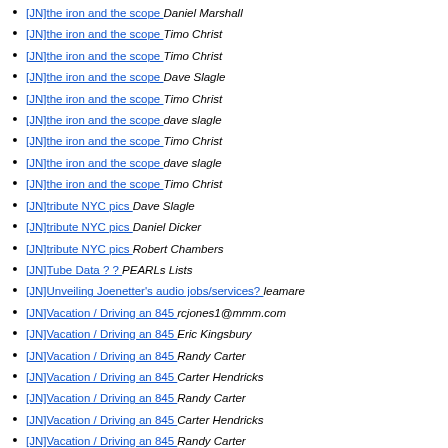[JN]the iron and the scope  Daniel Marshall
[JN]the iron and the scope  Timo Christ
[JN]the iron and the scope  Timo Christ
[JN]the iron and the scope  Dave Slagle
[JN]the iron and the scope  Timo Christ
[JN]the iron and the scope  dave slagle
[JN]the iron and the scope  Timo Christ
[JN]the iron and the scope  dave slagle
[JN]the iron and the scope  Timo Christ
[JN]tribute NYC pics  Dave Slagle
[JN]tribute NYC pics  Daniel Dicker
[JN]tribute NYC pics  Robert Chambers
[JN]Tube Data ? ?  PEARLs Lists
[JN]Unveiling Joenetter's audio jobs/services?  leamare
[JN]Vacation / Driving an 845  rcjones1@mmm.com
[JN]Vacation / Driving an 845  Eric Kingsbury
[JN]Vacation / Driving an 845  Randy Carter
[JN]Vacation / Driving an 845  Carter Hendricks
[JN]Vacation / Driving an 845  Randy Carter
[JN]Vacation / Driving an 845  Carter Hendricks
[JN]Vacation / Driving an 845  Randy Carter
[JN]Vacation / Driving an 845  Phil
[JN]Vacation / Driving an 845  Daniel Normolle
[JN]Vacation / Driving an 845  Randy Carter
[JN]Vacation / Driving an 845  Randy Carter